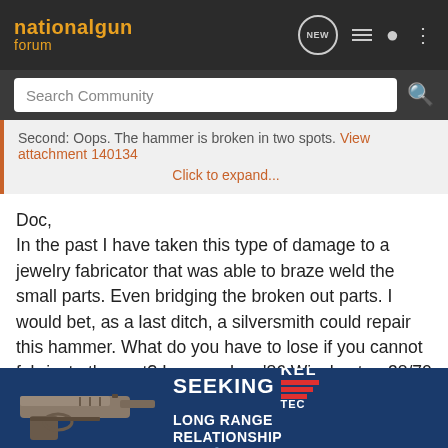nationalgun forum
Search Community
Second: Oops. The hammer is broken in two spots. View attachment 140134
Click to expand...
Doc,
In the past I have taken this type of damage to a jewelry fabricator that was able to braze weld the small parts. Even bridging the broken out parts. I would bet, as a last ditch, a silversmith could repair this hammer. What do you have to lose if you cannot fabricate the part? I rescued an '86 Winchester .38/70 (talk about a rare bird) cartridge lifter in 1977. Silver welded the broken piece on the tip. It was still shooting in the 1990's when I sold it.
They really are worth the effort.
Roy
[Figure (screenshot): Advertisement banner for Kel-Tec CP33 pistol with text SEEKING LONG RANGE RELATIONSHIP]